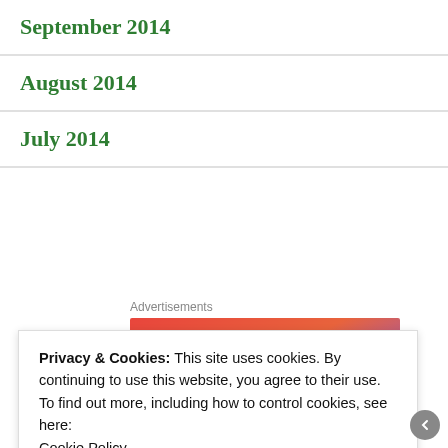September 2014
August 2014
July 2014
Advertisements
[Figure (illustration): Fandom advertisement banner with colorful gradient background (pink/orange to purple) featuring a sailboat, skull, dice, and the text FANDOM ON]
Privacy & Cookies: This site uses cookies. By continuing to use this website, you agree to their use.
To find out more, including how to control cookies, see here: Cookie Policy
Close and accept